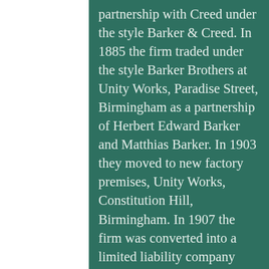partnership with Creed under the style Barker & Creed. In 1885 the firm traded under the style Barker Brothers at Unity Works, Paradise Street, Birmingham as a partnership of Herbert Edward Barker and Matthias Barker. In 1903 they moved to new factory premises, Unity Works, Constitution Hill, Birmingham. In 1907 the firm was converted into a limited liability company under the style Barker Brothers Silversmiths Ltd and in the 1960s, merging with Ellis & Co (Birmingham) Ltd, the firm changed to Barker Ellis Silver Co Ltd. On January 2, 1979, the firm